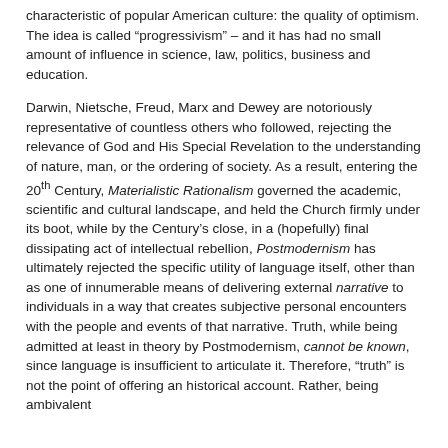characteristic of popular American culture: the quality of optimism. The idea is called “progressivism” – and it has had no small amount of influence in science, law, politics, business and education.
Darwin, Nietsche, Freud, Marx and Dewey are notoriously representative of countless others who followed, rejecting the relevance of God and His Special Revelation to the understanding of nature, man, or the ordering of society. As a result, entering the 20th Century, Materialistic Rationalism governed the academic, scientific and cultural landscape, and held the Church firmly under its boot, while by the Century’s close, in a (hopefully) final dissipating act of intellectual rebellion, Postmodernism has ultimately rejected the specific utility of language itself, other than as one of innumerable means of delivering external narrative to individuals in a way that creates subjective personal encounters with the people and events of that narrative. Truth, while being admitted at least in theory by Postmodernism, cannot be known, since language is insufficient to articulate it. Therefore, "truth" is not the point of offering an historical account. Rather, being ambivalent